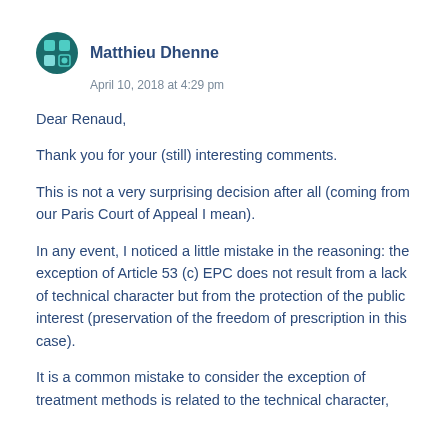Matthieu Dhenne
April 10, 2018 at 4:29 pm
Dear Renaud,
Thank you for your (still) interesting comments.
This is not a very surprising decision after all (coming from our Paris Court of Appeal I mean).
In any event, I noticed a little mistake in the reasoning: the exception of Article 53 (c) EPC does not result from a lack of technical character but from the protection of the public interest (preservation of the freedom of prescription in this case).
It is a common mistake to consider the exception of treatment methods is related to the technical character,